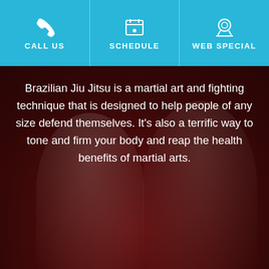CALL US | SCHEDULE | WEB SPECIAL
Brazilian Jiu Jitsu is a martial art and fighting technique that is designed to help people of any size defend themselves. It’s also a terrific way to tone and firm your body and reap the health benefits of martial arts.
[Figure (photo): Two people wearing white Brazilian Jiu Jitsu gis posing together, smiling, against a dark reddish-brown background]